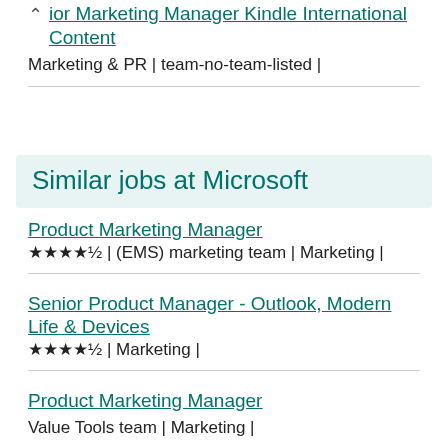Senior Marketing Manager Kindle International Content
Marketing & PR | team-no-team-listed |
Similar jobs at Microsoft
Product Marketing Manager
★★★★½ | (EMS) marketing team | Marketing |
Senior Product Manager - Outlook, Modern Life & Devices
★★★★½ | Marketing |
Product Marketing Manager
Value Tools team | Marketing |
Product Marketing Manager
★★★★½ | each diverse team | Marketing |